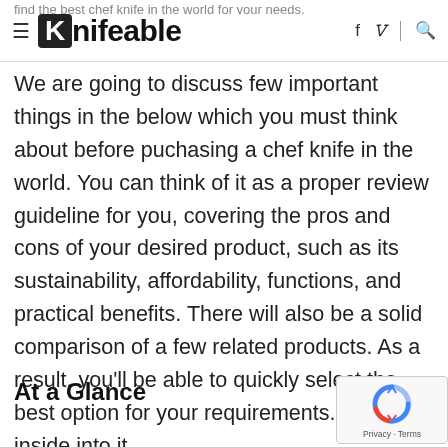≡ Knifeable f ✓ 🔍
We are going to discuss few important things in the below which you must think about before puchasing a chef knife in the world. You can think of it as a proper review guideline for you, covering the pros and cons of your desired product, such as its sustainability, affordability, functions, and practical benefits. There will also be a solid comparison of a few related products. As a result, you'll be able to quickly select the best option for your requirements. Let's dive inside into it.
At a Glance
[Figure (logo): reCAPTCHA badge with Privacy and Terms text]